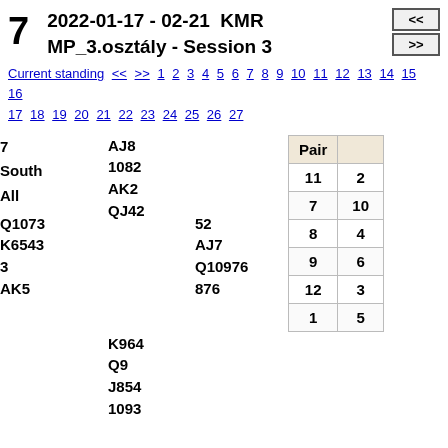7  2022-01-17 - 02-21  KMR  MP_3.osztály - Session 3
Current standing << >> 1 2 3 4 5 6 7 8 9 10 11 12 13 14 15 16 17 18 19 20 21 22 23 24 25 26 27
Bridge hand 7: North: AJ8, 1082, AK2, QJ42. West: Q1073, K6543, 3, AK5. East: 52, AJ7, Q10976, 876. South: K964, Q9, J854, 1093. Dealer: South. Vul: All.
| Pair |  |
| --- | --- |
| 11 | 2 |
| 7 | 10 |
| 8 | 4 |
| 9 | 6 |
| 12 | 3 |
| 1 | 5 |